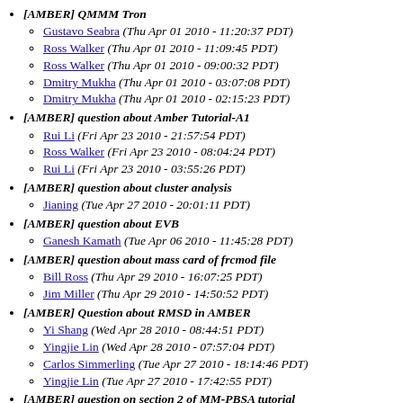[AMBER] QMMM Tron
Gustavo Seabra (Thu Apr 01 2010 - 11:20:37 PDT)
Ross Walker (Thu Apr 01 2010 - 11:09:45 PDT)
Ross Walker (Thu Apr 01 2010 - 09:00:32 PDT)
Dmitry Mukha (Thu Apr 01 2010 - 03:07:08 PDT)
Dmitry Mukha (Thu Apr 01 2010 - 02:15:23 PDT)
[AMBER] question about Amber Tutorial-A1
Rui Li (Fri Apr 23 2010 - 21:57:54 PDT)
Ross Walker (Fri Apr 23 2010 - 08:04:24 PDT)
Rui Li (Fri Apr 23 2010 - 03:55:26 PDT)
[AMBER] question about cluster analysis
Jianing (Tue Apr 27 2010 - 20:01:11 PDT)
[AMBER] question about EVB
Ganesh Kamath (Tue Apr 06 2010 - 11:45:28 PDT)
[AMBER] question about mass card of frcmod file
Bill Ross (Thu Apr 29 2010 - 16:07:25 PDT)
Jim Miller (Thu Apr 29 2010 - 14:50:52 PDT)
[AMBER] Question about RMSD in AMBER
Yi Shang (Wed Apr 28 2010 - 08:44:51 PDT)
Yingjie Lin (Wed Apr 28 2010 - 07:57:04 PDT)
Carlos Simmerling (Tue Apr 27 2010 - 18:14:46 PDT)
Yingjie Lin (Tue Apr 27 2010 - 17:42:55 PDT)
[AMBER] question on section 2 of MM-PBSA tutorial
Andrew Voronkov (Thu Apr 08 2010 - 00:14:17 PDT)
[AMBER] Question: ptraj masks
Carlos Simmerling (Wed Apr 28 2010 - 14:28:27